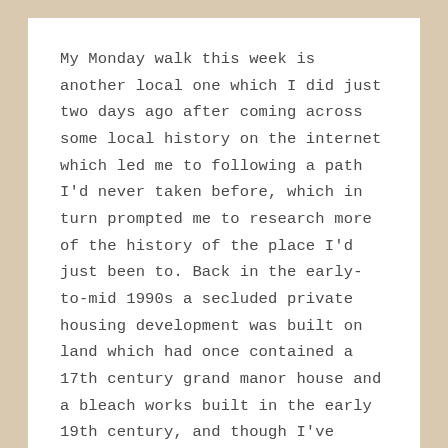My Monday walk this week is another local one which I did just two days ago after coming across some local history on the internet which led me to following a path I'd never taken before, which in turn prompted me to research more of the history of the place I'd just been to. Back in the early-to-mid 1990s a secluded private housing development was built on land which had once contained a 17th century grand manor house and a bleach works built in the early 19th century, and though I've passed the entrance to the development many times I've never known the history of the land until now.
In the 1600s Bradshaw Hall was built in the rural